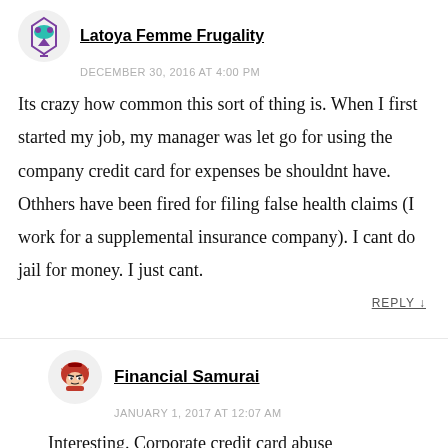Latoya Femme Frugality
DECEMBER 30, 2016 AT 4:00 PM
Its crazy how common this sort of thing is. When I first started my job, my manager was let go for using the company credit card for expenses be shouldnt have. Othhers have been fired for filing false health claims (I work for a supplemental insurance company). I cant do jail for money. I just cant.
REPLY ↓
Financial Samurai
JANUARY 1, 2017 AT 12:07 AM
Interesting. Corporate credit card abuse